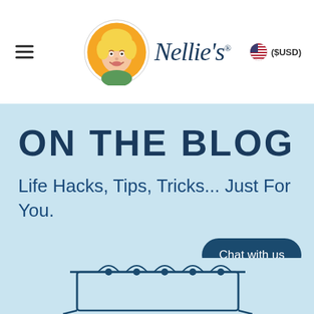Nellie's  ($USD)
ON THE BLOG
Life Hacks, Tips, Tricks... Just For You.
Chat with us